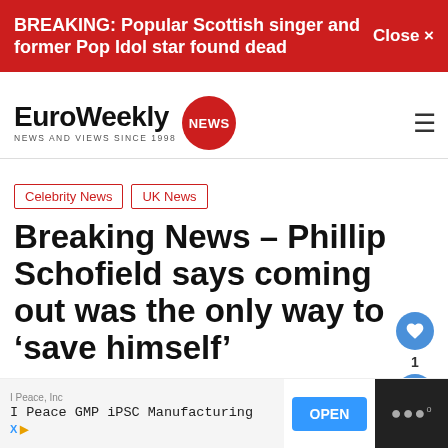BREAKING: Popular Scottish singer and former Pop Idol star found dead   Close X
[Figure (logo): EuroWeekly NEWS logo with red circle badge, tagline NEWS AND VIEWS SINCE 1998]
Celebrity News   UK News
Breaking News – Phillip Schofield says coming out was the only way to 'save himself'
By Charlie Loran · 31 October 2020 · 8:21
[Figure (infographic): Advertisement banner: I Peace, Inc | I Peace GMP iPSC Manufacturing | OPEN button | dark panel with dots]